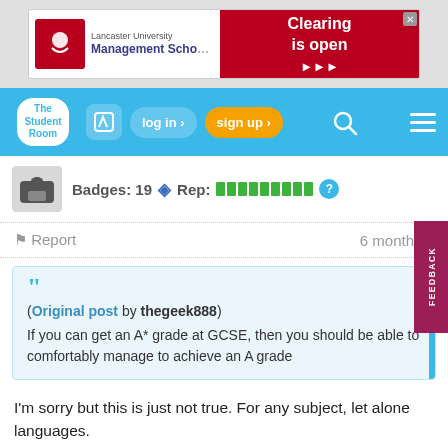[Figure (screenshot): Lancaster University Management School advertisement banner with Clearing is open message]
[Figure (screenshot): The Student Room navigation bar with log in, sign up, search and menu buttons]
Badges: 19  Rep:
Report  6 months a
(Original post by thegeek888)
If you can get an A* grade at GCSE, then you should be able to comfortably manage to achieve an A grade
I'm sorry but this is just not true. For any subject, let alone languages.
1  reply